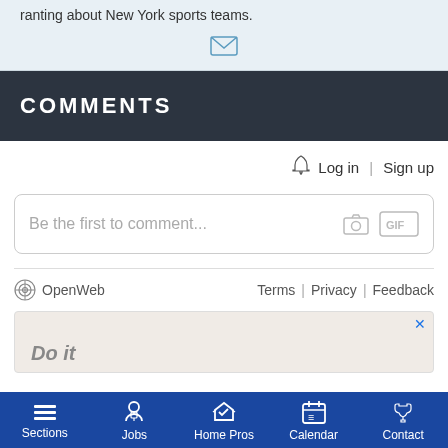ranting about New York sports teams.
[Figure (other): Email envelope icon]
COMMENTS
Log in | Sign up
Be the first to comment...
OpenWeb   Terms | Privacy | Feedback
[Figure (other): Advertisement banner, partially visible with close button]
Sections  Jobs  Home Pros  Calendar  Contact